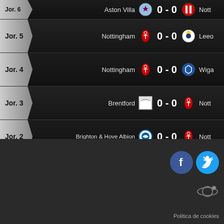Jor. 6 — Aston Villa 0 - 0 Nott (partial)
Jor. 5 — Nottingham 0 - 0 Leeds
Jor. 4 — Nottingham 0 - 0 Wigan
Jor. 3 — Brentford 0 - 0 Nott
Jor. 2 — Brighton & Hove Albion 0 - 0 Nott
Jor. 1 — Nottingham 0 - 0 Burt
[Figure (logo): Facebook icon]
[Figure (logo): Twitter icon]
[Figure (logo): Other social icon]
Politica de cookies